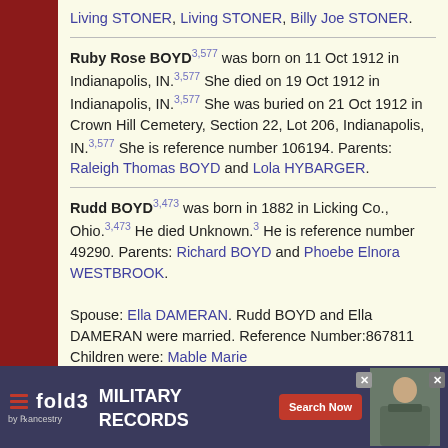Living STONER, Living STONER, Billy Joe STONER.
Ruby Rose BOYD3,577 was born on 11 Oct 1912 in Indianapolis, IN.3,577 She died on 19 Oct 1912 in Indianapolis, IN.3,577 She was buried on 21 Oct 1912 in Crown Hill Cemetery, Section 22, Lot 206, Indianapolis, IN.3,577 She is reference number 106194. Parents: Raleigh Thomas BOYD and Lola HYBARGER.
Rudd BOYD3,473 was born in 1882 in Licking Co., Ohio.3,473 He died Unknown.3 He is reference number 49290. Parents: Richard BOYD and Phoebe Elnora WESTBROOK. Spouse: Ella DAMERAN. Rudd BOYD and Ella DAMERAN were married. Reference Number:867811 Children were: Mable Marie
[Figure (screenshot): Advertisement banner for fold3 Military Records by Ancestry, with Search Now button and soldier photo]